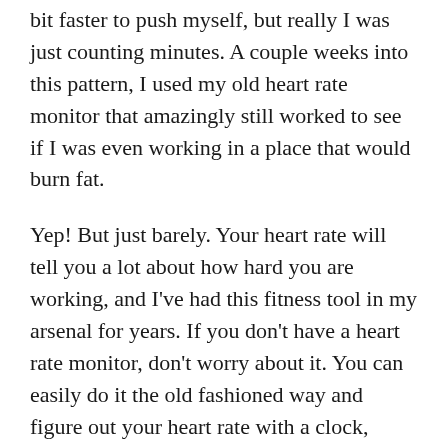bit faster to push myself, but really I was just counting minutes. A couple weeks into this pattern, I used my old heart rate monitor that amazingly still worked to see if I was even working in a place that would burn fat.
Yep! But just barely. Your heart rate will tell you a lot about how hard you are working, and I've had this fitness tool in my arsenal for years. If you don't have a heart rate monitor, don't worry about it. You can easily do it the old fashioned way and figure out your heart rate with a clock, watch, or the timer app on your phone.
How long did it take me to walk a mile back in August 2011? 28 minutes.